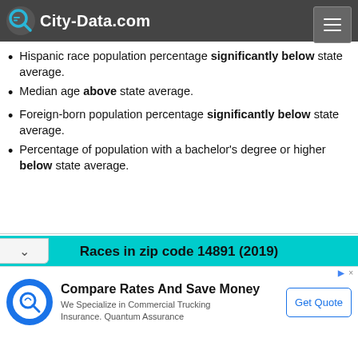City-Data.com
Black race population percentage significantly below state average.
Hispanic race population percentage significantly below state average.
Median age above state average.
Foreign-born population percentage significantly below state average.
Percentage of population with a bachelor's degree or higher below state average.
[Figure (pie-chart): Partially visible pie chart showing racial composition of zip code 14891 in 2019. A large purple/lavender slice dominates, with smaller slices in green, yellow, and other colors visible at top.]
Compare Rates And Save Money. We Specialize in Commercial Trucking Insurance. Quantum Assurance. Get Quote.